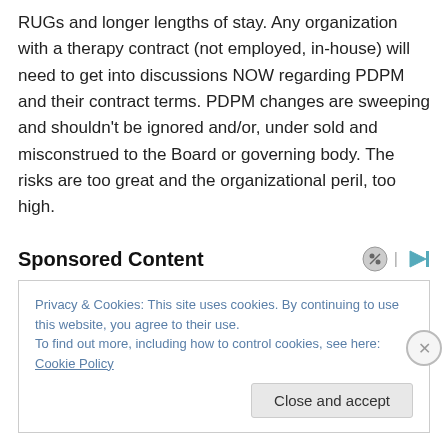RUGs and longer lengths of stay.  Any organization with a therapy contract (not employed, in-house) will need to get into discussions NOW regarding PDPM and their contract terms.  PDPM changes are sweeping and shouldn't be ignored and/or, under sold and misconstrued to the Board or governing body.  The risks are too great and the organizational peril, too high.
Sponsored Content
Privacy & Cookies: This site uses cookies. By continuing to use this website, you agree to their use.
To find out more, including how to control cookies, see here: Cookie Policy
Close and accept